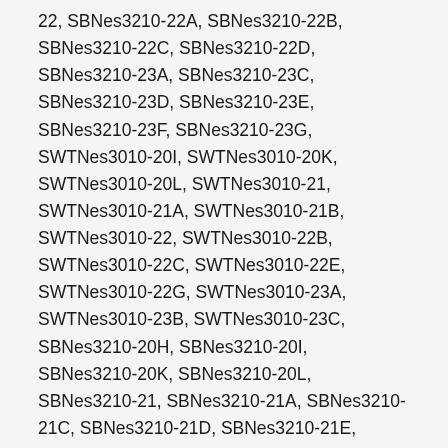22, SBNes3210-22A, SBNes3210-22B, SBNes3210-22C, SBNes3210-22D, SBNes3210-23A, SBNes3210-23C, SBNes3210-23D, SBNes3210-23E, SBNes3210-23F, SBNes3210-23G, SWTNes3010-20I, SWTNes3010-20K, SWTNes3010-20L, SWTNes3010-21, SWTNes3010-21A, SWTNes3010-21B, SWTNes3010-22, SWTNes3010-22B, SWTNes3010-22C, SWTNes3010-22E, SWTNes3010-22G, SWTNes3010-23A, SWTNes3010-23B, SWTNes3010-23C, SBNes3210-20H, SBNes3210-20I, SBNes3210-20K, SBNes3210-20L, SBNes3210-21, SBNes3210-21A, SBNes3210-21C, SBNes3210-21D, SBNes3210-21E, SBNes3210-21F, SBNes3210-21G, SBNes3210-21H, SBNes3210-21I, SBNes3210-21J, SBNes3210-21K, SBNes3210-21L, SBNes3210-21M, SICBN3366-20, SICBN3366-20A, SICBN3366-20C, SICN3066-